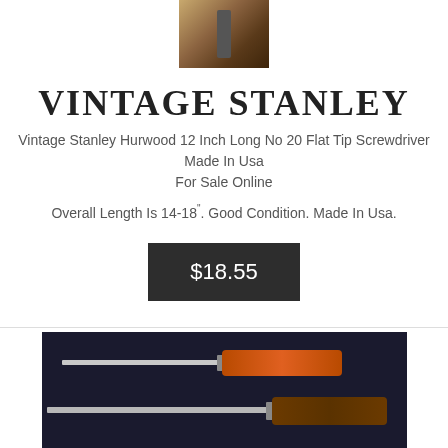[Figure (photo): Small thumbnail photo of a vintage Stanley screwdriver handle]
VINTAGE STANLEY
Vintage Stanley Hurwood 12 Inch Long No 20 Flat Tip Screwdriver Made In Usa For Sale Online
Overall Length Is 14-18". Good Condition. Made In Usa.
$18.55
[Figure (photo): Photo of three vintage Stanley screwdrivers with orange/brown handles laid on a dark background]